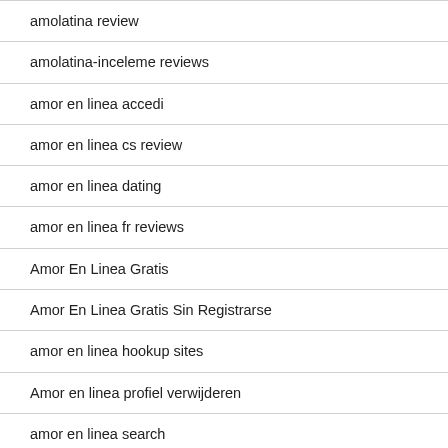amolatina review
amolatina-inceleme reviews
amor en linea accedi
amor en linea cs review
amor en linea dating
amor en linea fr reviews
Amor En Linea Gratis
Amor En Linea Gratis Sin Registrarse
amor en linea hookup sites
Amor en linea profiel verwijderen
amor en linea search